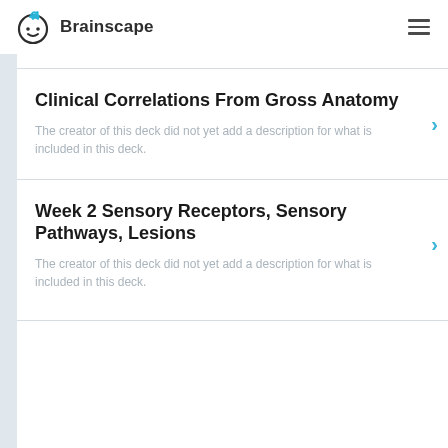Brainscape
Clinical Correlations From Gross Anatomy
The creator of this deck did not yet add a description for what is included in this deck.
Week 2 Sensory Receptors, Sensory Pathways, Lesions
The creator of this deck did not yet add a description for what is included in this deck.